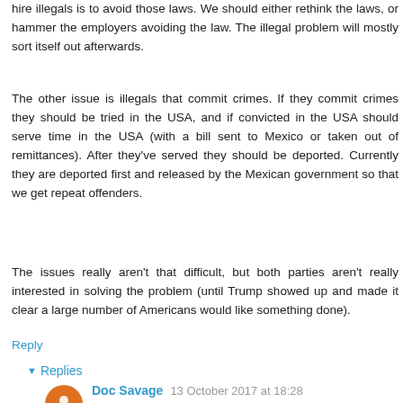hire illegals is to avoid those laws. We should either rethink the laws, or hammer the employers avoiding the law. The illegal problem will mostly sort itself out afterwards.
The other issue is illegals that commit crimes. If they commit crimes they should be tried in the USA, and if convicted in the USA should serve time in the USA (with a bill sent to Mexico or taken out of remittances). After they've served they should be deported. Currently they are deported first and released by the Mexican government so that we get repeat offenders.
The issues really aren't that difficult, but both parties aren't really interested in solving the problem (until Trump showed up and made it clear a large number of Americans would like something done).
Reply
Replies
Doc Savage 13 October 2017 at 18:28
Minimum wage laws and illegal immigration don't